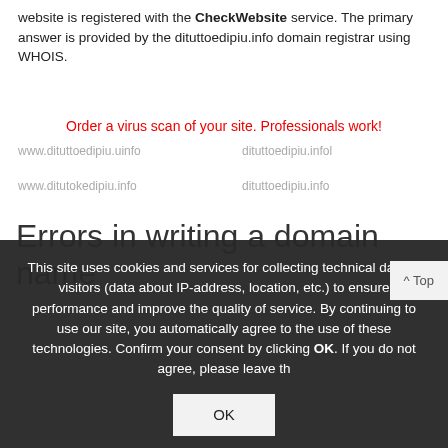website is registered with the CheckWebsite service. The primary answer is provided by the dituttoedipiu.info domain registrar using WHOIS.
Order a virus scan of your site. Professionals work!
Errors in writing a domain name
| di8tuttoedipiu.info | www.dituttoedipiun.info |
| dituttoedipiu.infk | wwwdituttoemipiu.info |
| www.dituttoedipiu.uinfo | dituttoedipiu.infol |
| www.ditutokedipiu.info | dituttoedipiu.info |
| www.dituttoxdipiu.info | www.dituttoedipiu.infe |
| www.dituttoedrpiu.info | www.dituttoedipdiu.info |
| www.dituttoedipdiu.info | dituttoedipiu.info |
| www.dixuttoedipiu.info | dituttoedipiu.info |
This site uses cookies and services for collecting technical data of visitors (data about IP-address, location, etc.) to ensure performance and improve the quality of service. By continuing to use our site, you automatically agree to the use of these technologies. Confirm your consent by clicking OK. If you do not agree, please leave the site.